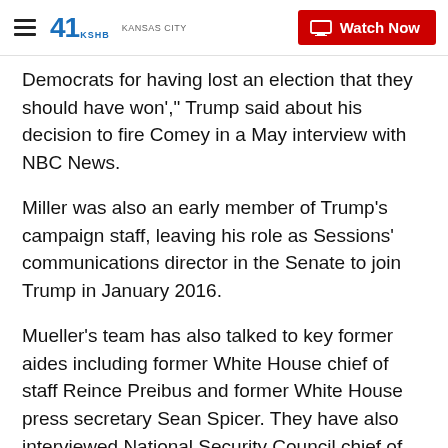41 KSHB KANSAS CITY | Watch Now
Democrats for having lost an election that they should have won'," Trump said about his decision to fire Comey in a May interview with NBC News.
Miller was also an early member of Trump's campaign staff, leaving his role as Sessions' communications director in the Senate to join Trump in January 2016.
Mueller's team has also talked to key former aides including former White House chief of staff Reince Preibus and former White House press secretary Sean Spicer. They have also interviewed National Security Council chief of staff Keith Kellogg. CNN has previously reported Mueller is also seeking to interview other White House staff including McGahn,